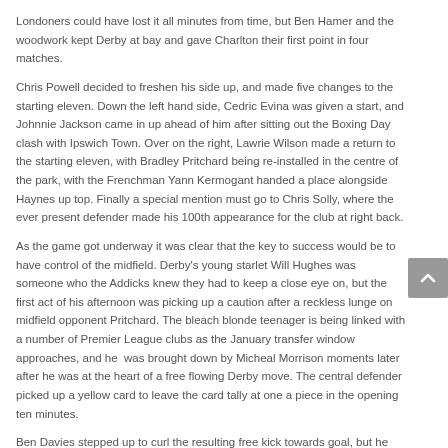Londoners could have lost it all minutes from time, but Ben Hamer and the woodwork kept Derby at bay and gave Charlton their first point in four matches.
Chris Powell decided to freshen his side up, and made five changes to the starting eleven. Down the left hand side, Cedric Evina was given a start, and Johnnie Jackson came in up ahead of him after sitting out the Boxing Day clash with Ipswich Town. Over on the right, Lawrie Wilson made a return to the starting eleven, with Bradley Pritchard being re-installed in the centre of the park, with the Frenchman Yann Kermogant handed a place alongside Haynes up top. Finally a special mention must go to Chris Solly, where the ever present defender made his 100th appearance for the club at right back.
As the game got underway it was clear that the key to success would be to have control of the midfield. Derby's young starlet Will Hughes was someone who the Addicks knew they had to keep a close eye on, but the first act of his afternoon was picking up a caution after a reckless lunge on midfield opponent Pritchard. The bleach blonde teenager is being linked with a number of Premier League clubs as the January transfer window approaches, and he  was brought down by Micheal Morrison moments later after he was at the heart of a free flowing Derby move. The central defender picked up a yellow card to leave the card tally at one a piece in the opening ten minutes.
Ben Davies stepped up to curl the resulting free kick towards goal, but he was denied by Ben Hamer who was to make his first save of many during the afternoon. Shortly afterwards, Davies stood over another set piece far out of the left hand touchline, and whipped in another dangerous ball,